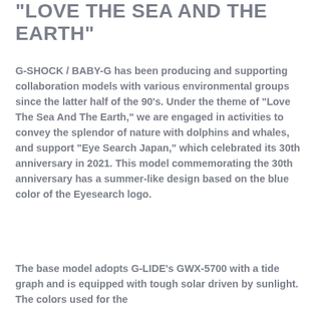LOVE THE SEA AND THE EARTH"
G-SHOCK / BABY-G has been producing and supporting collaboration models with various environmental groups since the latter half of the 90's. Under the theme of "Love The Sea And The Earth," we are engaged in activities to convey the splendor of nature with dolphins and whales, and support "Eye Search Japan," which celebrated its 30th anniversary in 2021. This model commemorating the 30th anniversary has a summer-like design based on the blue color of the Eyesearch logo.
The base model adopts G-LIDE's GWX-5700 with a tide graph and is equipped with tough solar driven by sunlight. The colors used for the